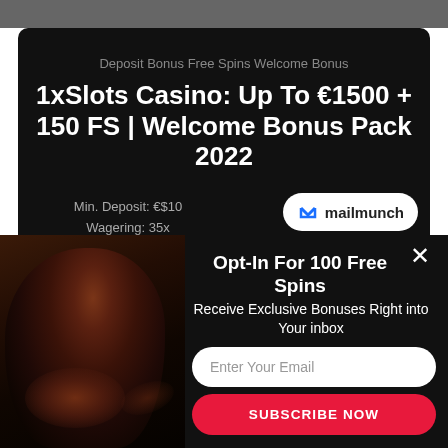[Figure (screenshot): Top dark gray navigation bar]
Deposit Bonus Free Spins Welcome Bonus
1xSlots Casino: Up To €1500 + 150 FS | Welcome Bonus Pack 2022
Min. Deposit: €$10
Wagering: 35x
[Figure (logo): Mailmunch logo badge - blue M icon with text 'mailmunch']
[Figure (photo): Horror figure / dark shadowy person on left side of popup]
Opt-In For 100 Free Spins
Receive Exclusive Bonuses Right into Your inbox
Enter Your Email
SUBSCRIBE NOW